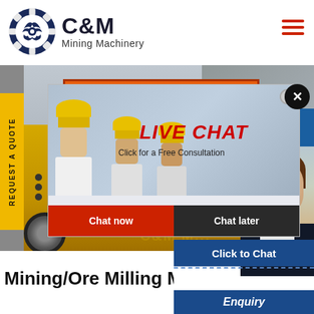[Figure (logo): C&M Mining Machinery logo with eagle/gear emblem in navy blue circle, text C&M in bold black and Mining Machinery below]
[Figure (photo): Mining/ore milling machinery photo showing yellow industrial crusher/mill equipment with orange hopper top, with background of warehouse containers]
[Figure (screenshot): Live chat popup overlay showing workers in yellow hard hats, LIVE CHAT heading in red italic, Click for a Free Consultation text, Chat now (red) and Chat later (dark) buttons]
[Figure (photo): Customer service agent photo - woman with headset smiling, positioned on right side panel]
REQUEST A QUOTE
Hours online
LIVE CHAT
Click for a Free Consultation
Chat now
Chat later
Click to Chat
Mining/Ore Milling Mt Ba
Enquiry